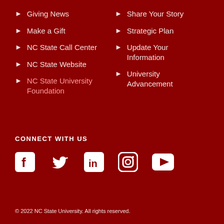Giving News
Make a Gift
NC State Call Center
NC State Website
NC State University Foundation
Share Your Story
Strategic Plan
Update Your Information
University Advancement
CONNECT WITH US
[Figure (infographic): Social media icons: Facebook, Twitter, LinkedIn, Instagram, YouTube]
© 2022 NC State University. All rights reserved.